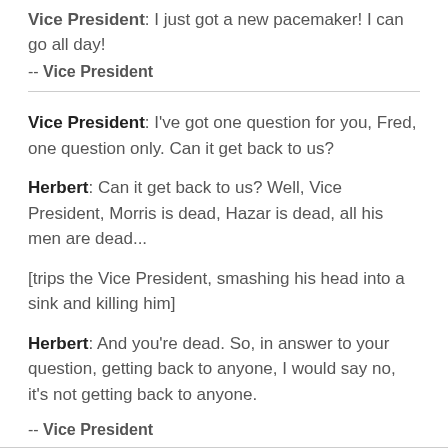Vice President: I just got a new pacemaker! I can go all day!
-- Vice President
Vice President: I've got one question for you, Fred, one question only. Can it get back to us?
Herbert: Can it get back to us? Well, Vice President, Morris is dead, Hazar is dead, all his men are dead...
[trips the Vice President, smashing his head into a sink and killing him]
Herbert: And you're dead. So, in answer to your question, getting back to anyone, I would say no, it's not getting back to anyone.
-- Vice President